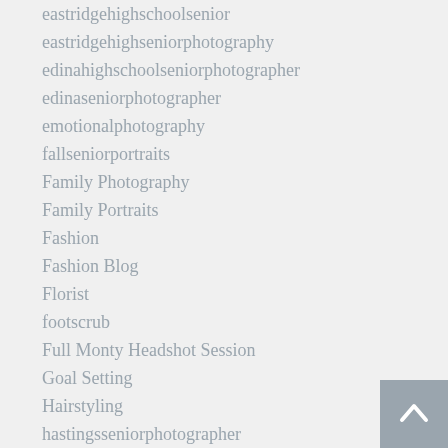eastridgehighschoolsenior
eastridgehighseniorphotography
edinahighschoolseniorphotographer
edinaseniorphotographer
emotionalphotography
fallseniorportraits
Family Photography
Family Portraits
Fashion
Fashion Blog
Florist
footscrub
Full Monty Headshot Session
Goal Setting
Hairstyling
hastingsseniorphotographer
Headshot Photography